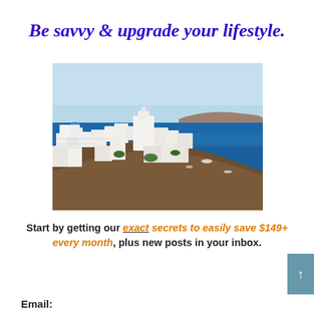Be savvy & upgrade your lifestyle.
[Figure (photo): Aerial view of Santorini, Greece — white-washed buildings on clifftop overlooking deep blue sea with boats]
Start by getting our exact secrets to easily save $149+ every month, plus new posts in your inbox.
Email: